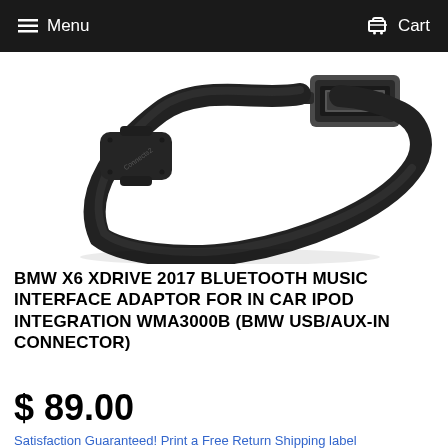Menu   Cart
[Figure (photo): A black USB Bluetooth adapter/dongle cable with a rectangular module labeled with a brand logo, connected to a standard USB-A connector, curled in a loop against a white background.]
BMW X6 XDRIVE 2017 BLUETOOTH MUSIC INTERFACE ADAPTOR FOR IN CAR IPOD INTEGRATION WMA3000B (BMW USB/AUX-IN CONNECTOR)
$ 89.00
Satisfaction Guaranteed! Print a Free Return Shipping label